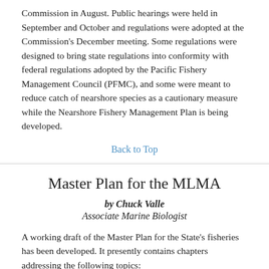Commission in August. Public hearings were held in September and October and regulations were adopted at the Commission's December meeting. Some regulations were designed to bring state regulations into conformity with federal regulations adopted by the Pacific Fishery Management Council (PFMC), and some were meant to reduce catch of nearshore species as a cautionary measure while the Nearshore Fishery Management Plan is being developed.
Back to Top
Master Plan for the MLMA
by Chuck Valle
Associate Marine Biologist
A working draft of the Master Plan for the State's fisheries has been developed. It presently contains chapters addressing the following topics: